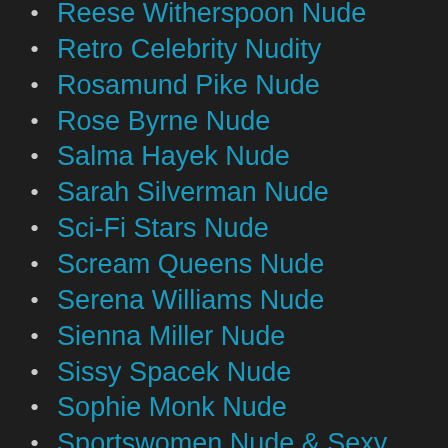Reese Witherspoon Nude
Retro Celebrity Nudity
Rosamund Pike Nude
Rose Byrne Nude
Salma Hayek Nude
Sarah Silverman Nude
Sci-Fi Stars Nude
Scream Queens Nude
Serena Williams Nude
Sienna Miller Nude
Sissy Spacek Nude
Sophie Monk Nude
Sportswomen Nude & Sexy
Stacy Ferguson Nude
Star Wars Nude
Superhero Movie Stars
Supermodels Nude